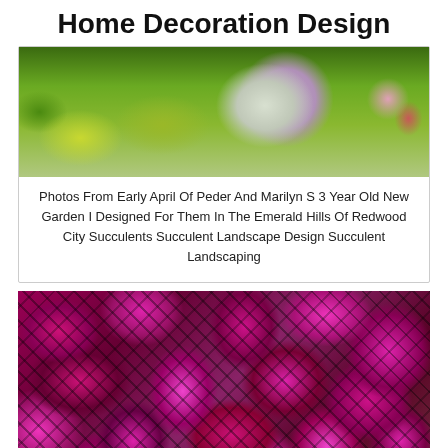Home Decoration Design
[Figure (photo): Close-up photo of colorful succulents including green sedum, a purple/grey echeveria rosette, and pink/red tipped plants]
Photos From Early April Of Peder And Marilyn S 3 Year Old New Garden I Designed For Them In The Emerald Hills Of Redwood City Succulents Succulent Landscape Design Succulent Landscaping
[Figure (photo): Close-up photo of polka dot plant (Hypoestes) with vibrant pink and dark/black spotted leaves filling the entire frame]